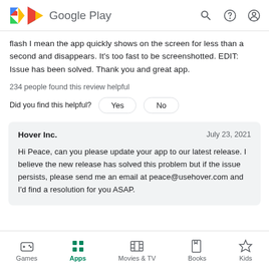Google Play
flash I mean the app quickly shows on the screen for less than a second and disappears. It's too fast to be screenshotted. EDIT: Issue has been solved. Thank you and great app.
234 people found this review helpful
Did you find this helpful?  Yes  No
Hover Inc.  July 23, 2021
Hi Peace, can you please update your app to our latest release. I believe the new release has solved this problem but if the issue persists, please send me an email at peace@usehover.com and I'd find a resolution for you ASAP.
Games  Apps  Movies & TV  Books  Kids